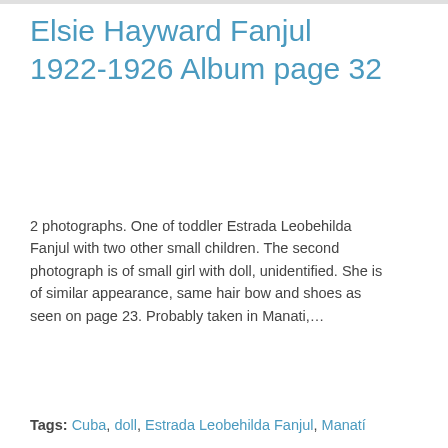Elsie Hayward Fanjul 1922-1926 Album page 32
2 photographs. One of toddler Estrada Leobehilda Fanjul with two other small children. The second photograph is of small girl with doll, unidentified. She is of similar appearance, same hair bow and shoes as seen on page 23. Probably taken in Manati,…
Tags: Cuba, doll, Estrada Leobehilda Fanjul, Manatí
[Figure (photo): Two sepia-toned vintage photographs side by side showing small children outdoors]